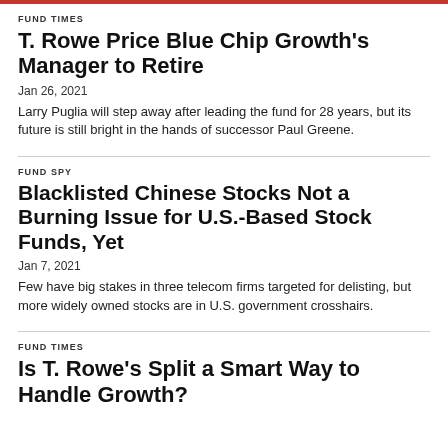FUND TIMES
T. Rowe Price Blue Chip Growth's Manager to Retire
Jan 26, 2021
Larry Puglia will step away after leading the fund for 28 years, but its future is still bright in the hands of successor Paul Greene.
FUND SPY
Blacklisted Chinese Stocks Not a Burning Issue for U.S.-Based Stock Funds, Yet
Jan 7, 2021
Few have big stakes in three telecom firms targeted for delisting, but more widely owned stocks are in U.S. government crosshairs.
FUND TIMES
Is T. Rowe's Split a Smart Way to Handle Growth?